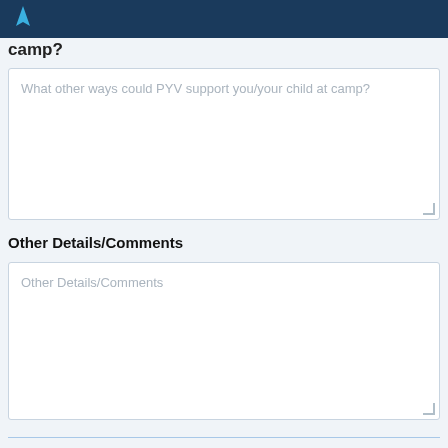camp?
What other ways could PYV support you/your child at camp?
Other Details/Comments
Other Details/Comments